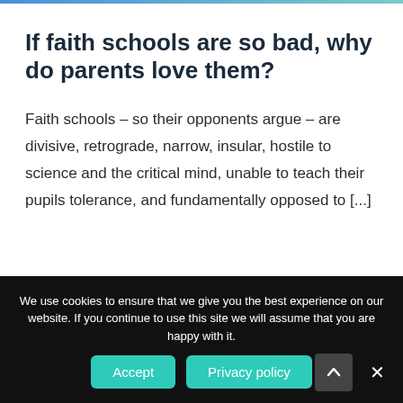If faith schools are so bad, why do parents love them?
Faith schools – so their opponents argue – are divisive, retrograde, narrow, insular, hostile to science and the critical mind, unable to teach their pupils tolerance, and fundamentally opposed to [...]
We use cookies to ensure that we give you the best experience on our website. If you continue to use this site we will assume that you are happy with it.